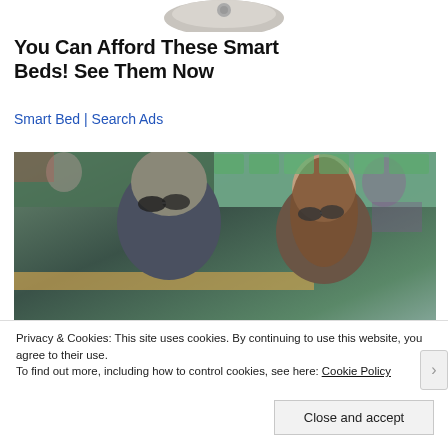[Figure (photo): Partial image of a smart bed or mattress product at top of page (cropped, only bottom portion visible)]
You Can Afford These Smart Beds! See Them Now
Smart Bed | Search Ads
[Figure (photo): Two people sitting in stadium seating at what appears to be a tennis event (Wimbledon). A man with sunglasses and a beard on the left, a woman with sunglasses and brown hair on the right.]
Privacy & Cookies: This site uses cookies. By continuing to use this website, you agree to their use.
To find out more, including how to control cookies, see here: Cookie Policy
Close and accept